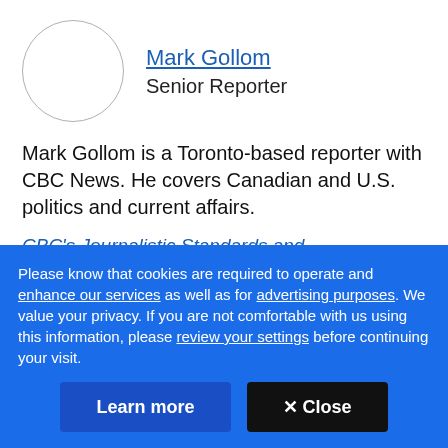[Figure (photo): Circular avatar/profile photo placeholder — empty white circle with grey border]
Mark Gollom
Senior Reporter
Mark Gollom is a Toronto-based reporter with CBC News. He covers Canadian and U.S. politics and current affairs.
CBC's Journalistic Standards and Practices | About
Please know that cookies are required to operate and enhance our services as well as for advertising purposes. We value your privacy. If you are not comfortable with us using this information, please review your settings before continuing your visit.